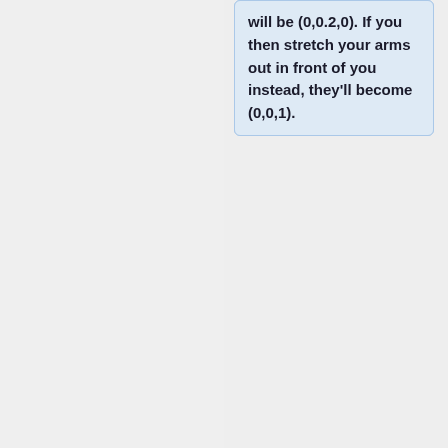will be (0,0.2,0). If you then stretch your arms out in front of you instead, they'll become (0,0,1).
+
We need three vectors. First is the position vector. This should be in meters, so you may need to